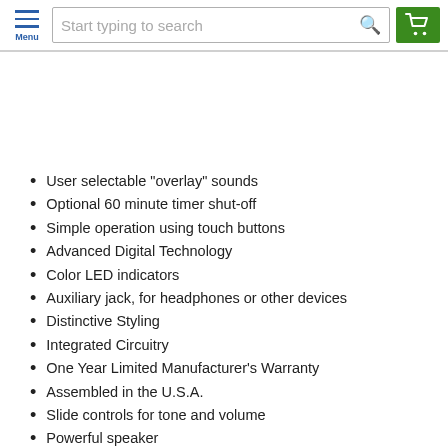Menu | Start typing to search
User selectable "overlay" sounds
Optional 60 minute timer shut-off
Simple operation using touch buttons
Advanced Digital Technology
Color LED indicators
Auxiliary jack, for headphones or other devices
Distinctive Styling
Integrated Circuitry
One Year Limited Manufacturer's Warranty
Assembled in the U.S.A.
Slide controls for tone and volume
Powerful speaker